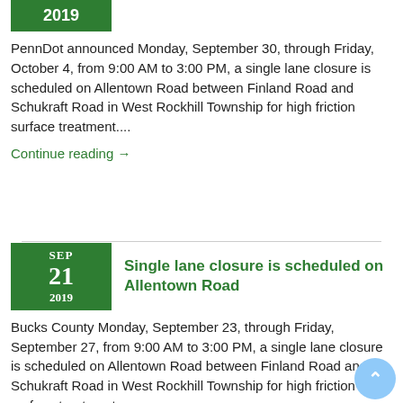2019
PennDot announced Monday, September 30, through Friday, October 4, from 9:00 AM to 3:00 PM, a single lane closure is scheduled on Allentown Road between Finland Road and Schukraft Road in West Rockhill Township for high friction surface treatment....
Continue reading →
SEP 21 2019 – Single lane closure is scheduled on Allentown Road
Bucks County Monday, September 23, through Friday, September 27, from 9:00 AM to 3:00 PM, a single lane closure is scheduled on Allentown Road between Finland Road and Schukraft Road in West Rockhill Township for high friction surface treatment.